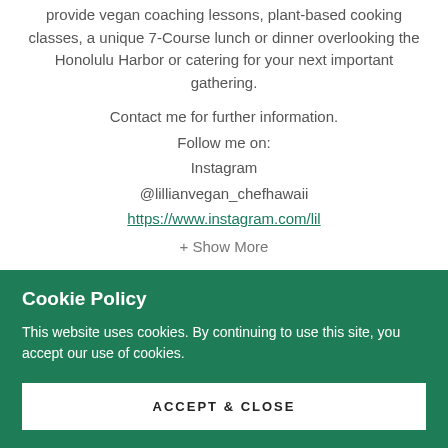provide vegan coaching lessons, plant-based cooking classes, a unique 7-Course lunch or dinner overlooking the Honolulu Harbor or catering for your next important gathering.
Contact me for further information.
Follow me on:
Instagram
@lillianvegan_chefhawaii
https://www.instagram.com/lil
+ Show More
Cookie Policy
This website uses cookies. By continuing to use this site, you accept our use of cookies.
ACCEPT & CLOSE